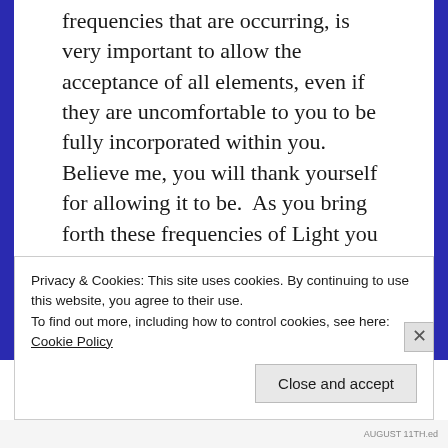frequencies that are occurring, is very important to allow the acceptance of all elements, even if they are uncomfortable to you to be fully incorporated within you.  Believe me, you will thank yourself for allowing it to be.  As you bring forth these frequencies of Light you will start to see a familiar pattern occurring within you.
August is a very transformational month.  It's not only transformational for the Earth, it's transformational for each of you.  So the incorporation of the Light Frequencies that
Privacy & Cookies: This site uses cookies. By continuing to use this website, you agree to their use.
To find out more, including how to control cookies, see here:
Cookie Policy
Close and accept